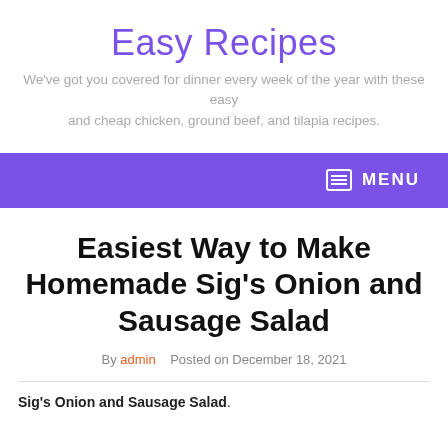Easy Recipes
We've got you covered for dinner every week of the year with these easy and cheap chicken, ground beef, and tilapia recipes.
[Figure (other): Purple navigation bar with MENU label and menu icon on the right]
Easiest Way to Make Homemade Sig's Onion and Sausage Salad
By admin   Posted on December 18, 2021
Sig's Onion and Sausage Salad.